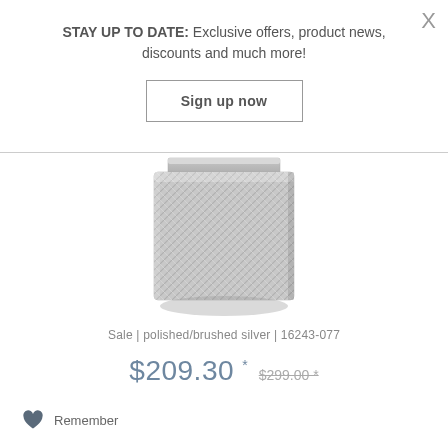STAY UP TO DATE: Exclusive offers, product news, discounts and much more!
Sign up now
[Figure (photo): Close-up photo of a metallic mesh watch bracelet/strap in polished/brushed silver, shown from the underside.]
Sale | polished/brushed silver | 16243-077
$209.30 * $299.00 *
Remember